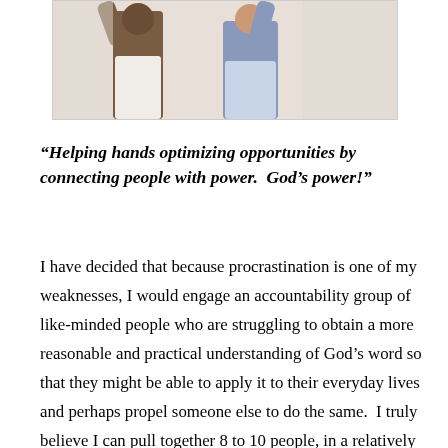[Figure (photo): Photograph of two people with raised arms/hands, partially cropped at top of page]
“Helping hands optimizing opportunities by connecting people with power.  God’s power!”
I have decided that because procrastination is one of my weaknesses, I would engage an accountability group of like-minded people who are struggling to obtain a more reasonable and practical understanding of God’s word so that they might be able to apply it to their everyday lives and perhaps propel someone else to do the same.  I truly believe I can pull together 8 to 10 people, in a relatively short time who are committed to reaching their personal, private, religious, financial and